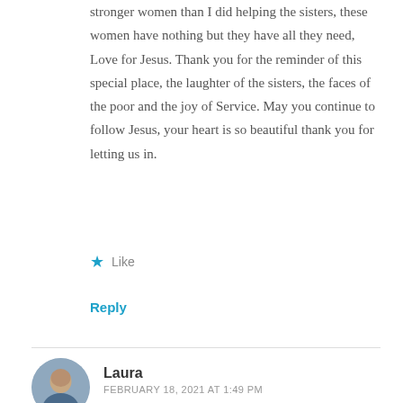stronger women than I did helping the sisters, these women have nothing but they have all they need, Love for Jesus. Thank you for the reminder of this special place, the laughter of the sisters, the faces of the poor and the joy of Service. May you continue to follow Jesus, your heart is so beautiful thank you for letting us in.
Like
Reply
Laura
FEBRUARY 18, 2021 AT 1:49 PM
Thank you, Andrea! I'm so glad you got to work with the Missionaries of Charity too. It was such